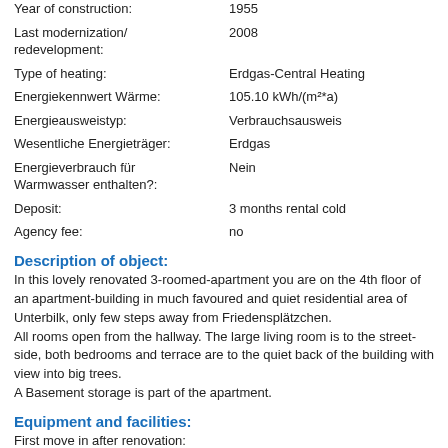| Year of construction: | 1955 |
| Last modernization/ redevelopment: | 2008 |
| Type of heating: | Erdgas-Central Heating |
| Energiekennwert Wärme: | 105.10 kWh/(m²*a) |
| Energieausweistyp: | Verbrauchsausweis |
| Wesentliche Energieträger: | Erdgas |
| Energieverbrauch für Warmwasser enthalten?: | Nein |
| Deposit: | 3 months rental cold |
| Agency fee: | no |
Description of object:
In this lovely renovated 3-roomed-apartment you are on the 4th floor of an apartment-building in much favoured and quiet residential area of Unterbilk, only few steps away from Friedensplätzchen.
All rooms open from the hallway. The large living room is to the street-side, both bedrooms and terrace are to the quiet back of the building with view into big trees.
A Basement storage is part of the apartment.
Equipment and facilities:
First move in after renovation:
- kitchen will be fitted on request with usual appliances - included in rental price
- Floor: Parquet floorboards and tiles
- Bathroom with tub, white tiles